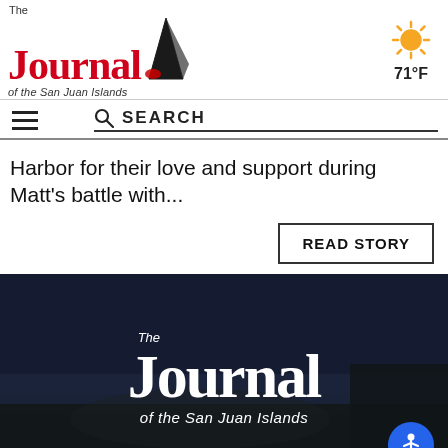The Journal of the San Juan Islands — 71°F
Harbor for their love and support during Matt's battle with...
READ STORY
[Figure (photo): Aerial/overhead photo of a coastal town (San Juan Islands) at dusk or evening, with water visible in the background and forested areas in the foreground. Overlaid with 'The Journal of the San Juan Islands' logo in white text on a dark semi-transparent background.]